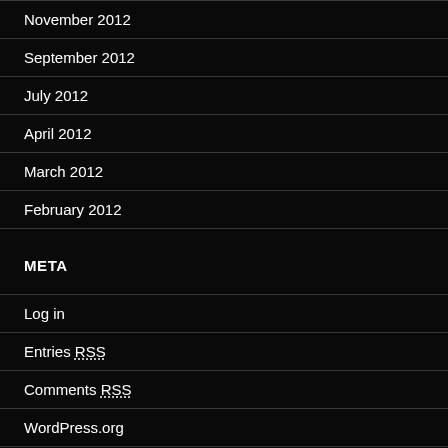November 2012
September 2012
July 2012
April 2012
March 2012
February 2012
META
Log in
Entries RSS
Comments RSS
WordPress.org